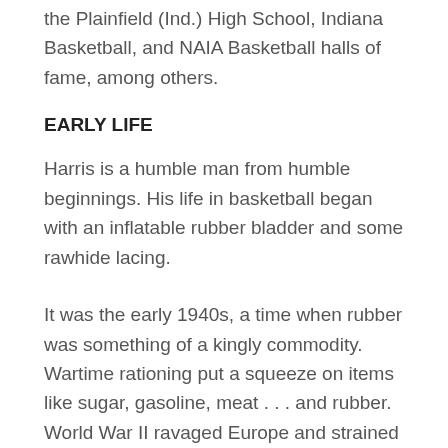the Plainfield (Ind.) High School, Indiana Basketball, and NAIA Basketball halls of fame, among others.
EARLY LIFE
Harris is a humble man from humble beginnings. His life in basketball began with an inflatable rubber bladder and some rawhide lacing.
It was the early 1940s, a time when rubber was something of a kingly commodity. Wartime rationing put a squeeze on items like sugar, gasoline, meat . . . and rubber. World War II ravaged Europe and strained global markets, but a kindly American G.I. gave 5-year-old Del his first basketball on a small neighborhood